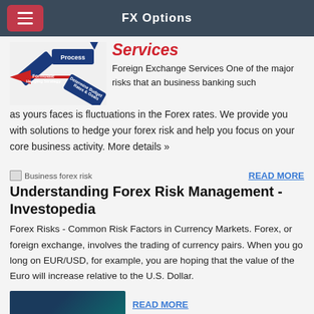FX Options
Services
[Figure (illustration): Diagram showing forex hedging process with arrows: Process, Formulate Hedging Strategy, Determine Budget Rates & Goals]
Foreign Exchange Services One of the major risks that an business banking such as yours faces is fluctuations in the Forex rates. We provide you with solutions to hedge your forex risk and help you focus on your core business activity. More details »
[Figure (illustration): Small broken image placeholder labelled Business forex risk]
READ MORE
Understanding Forex Risk Management - Investopedia
Forex Risks - Common Risk Factors in Currency Markets. Forex, or foreign exchange, involves the trading of currency pairs. When you go long on EUR/USD, for example, you are hoping that the value of the Euro will increase relative to the U.S. Dollar.
[Figure (photo): Dark teal/blue financial data photo thumbnail]
READ MORE